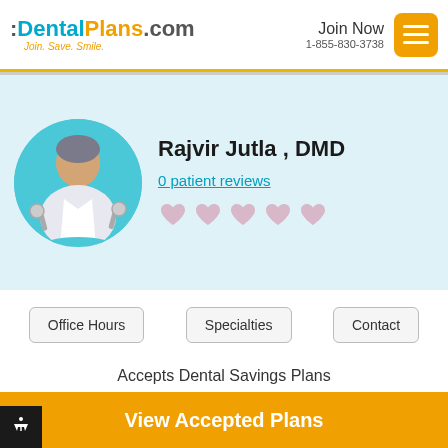:DentalPlans.com Join. Save. Smile. Join Now 1-855-830-3738
[Figure (illustration): Dentist avatar icon: cartoon figure in white coat with dental tools, inside a teal circle]
Rajvir Jutla , DMD
0 patient reviews
[Figure (other): Five heart-shaped rating stars in light pink/gray (empty/unrated)]
Office Hours
Specialties
Contact
Accepts Dental Savings Plans
View Accepted Plans